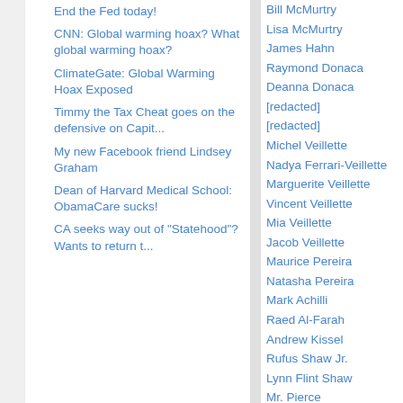End the Fed today!
CNN: Global warming hoax? What global warming hoax?
ClimateGate: Global Warming Hoax Exposed
Timmy the Tax Cheat goes on the defensive on Capit...
My new Facebook friend Lindsey Graham
Dean of Harvard Medical School: ObamaCare sucks!
CA seeks way out of "Statehood"? Wants to return t...
Bill McMurtry
Lisa McMurtry
James Hahn
Raymond Donaca
Deanna Donaca
[redacted]
[redacted]
Michel Veillette
Nadya Ferrari-Veillette
Marguerite Veillette
Vincent Veillette
Mia Veillette
Jacob Veillette
Maurice Pereira
Natasha Pereira
Mark Achilli
Raed Al-Farah
Andrew Kissel
Rufus Shaw Jr.
Lynn Flint Shaw
Mr. Pierce
Walter Buczynksi
Marci Buczynski
Jason Washington